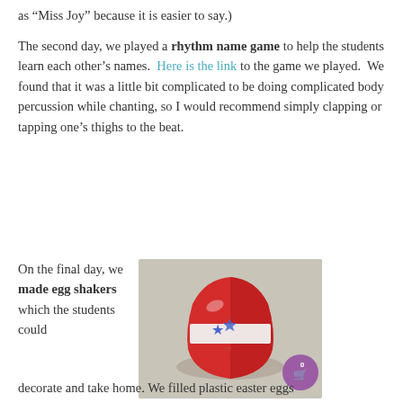as “Miss Joy” because it is easier to say.)
The second day, we played a rhythm name game to help the students learn each other’s names. Here is the link to the game we played. We found that it was a little bit complicated to be doing complicated body percussion while chanting, so I would recommend simply clapping or tapping one’s thighs to the beat.
On the final day, we made egg shakers which the students could
[Figure (photo): A red plastic Easter egg decorated with star stickers (one blue star and one red star visible), held together with a white tape strip around the middle, sitting on a beige carpet. A purple circular shopping cart badge with the number 0 is overlaid in the bottom right corner.]
decorate and take home. We filled plastic easter eggs...